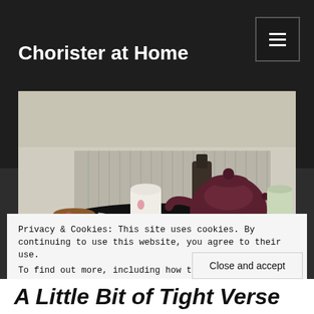Chorister at Home
[Figure (photo): A tea tray scene with a dark maroon teapot, a floral teacup with tea, mugs, and what appears to be biscuits or snacks on a black tray, set against a radiator background]
Privacy & Cookies: This site uses cookies. By continuing to use this website, you agree to their use.
To find out more, including how to control cookies, see here: Cookie Policy
Close and accept
A Little Bit of Tight Verse